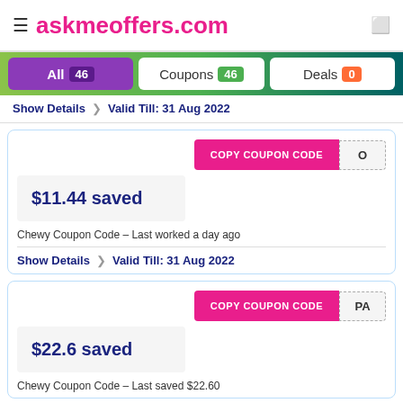askmeoffers.com
All 46  Coupons 46  Deals 0
Show Details  ❯  Valid Till: 31 Aug 2022
COPY COUPON CODE  O
$11.44 saved
Chewy Coupon Code – Last worked a day ago
Show Details  ❯  Valid Till: 31 Aug 2022
COPY COUPON CODE  PA
$22.6 saved
Chewy Coupon Code – Last saved $22.60